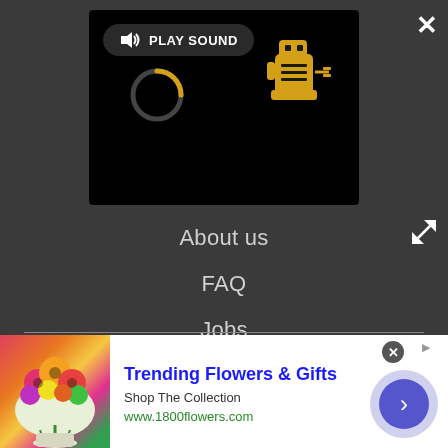[Figure (screenshot): Video/media player block with black background, 'PLAY SOUND' button with speaker icon, a yellow loading spinner arc, and a yellow robot/blender icon with power plug]
About us
FAQ
Jobs
Contact
Archives
[Figure (infographic): Advertisement banner: Trending Flowers & Gifts, Shop The Collection, www.1800flowers.com, with flower bouquet image and blue arrow button]